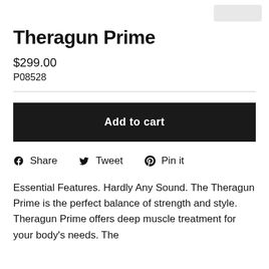Theragun Prime
$299.00
P08528
Add to cart
f Share   Tweet   Pin it
Essential Features. Hardly Any Sound. The Theragun Prime is the perfect balance of strength and style. Theragun Prime offers deep muscle treatment for your body's needs. The